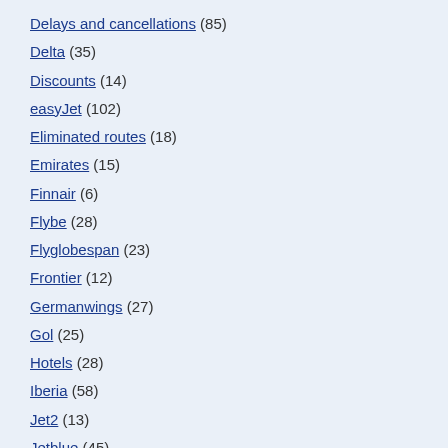Delays and cancellations (85)
Delta (35)
Discounts (14)
easyJet (102)
Eliminated routes (18)
Emirates (15)
Finnair (6)
Flybe (28)
Flyglobespan (23)
Frontier (12)
Germanwings (27)
Gol (25)
Hotels (28)
Iberia (58)
Jet2 (13)
Jetblue (45)
KLM (9)
Low cost (930)